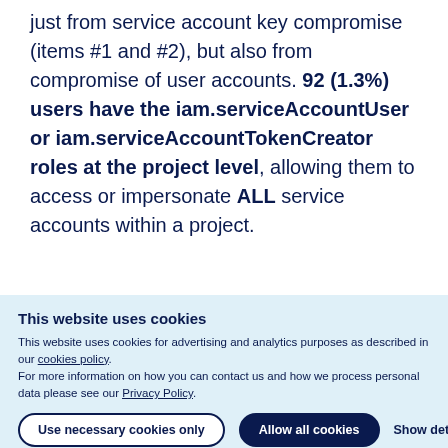just from service account key compromise (items #1 and #2), but also from compromise of user accounts. 92 (1.3%) users have the iam.serviceAccountUser or iam.serviceAccountTokenCreator roles at the project level, allowing them to access or impersonate ALL service accounts within a project.
This website uses cookies
This website uses cookies for advertising and analytics purposes as described in our cookies policy.
For more information on how you can contact us and how we process personal data please see our Privacy Policy.